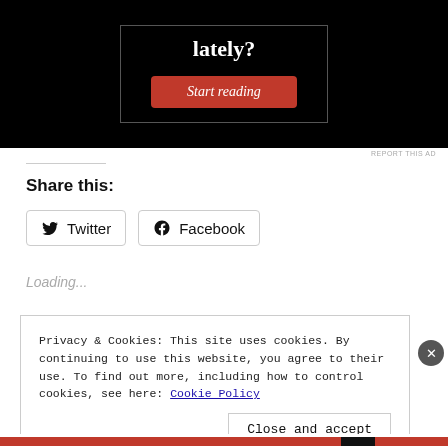[Figure (screenshot): Black advertisement banner with white serif bold text 'lately?' and a red 'Start reading' italic button in a bordered box]
REPORT THIS AD
Share this:
Twitter   Facebook
Loading...
Privacy & Cookies: This site uses cookies. By continuing to use this website, you agree to their use. To find out more, including how to control cookies, see here: Cookie Policy
Close and accept